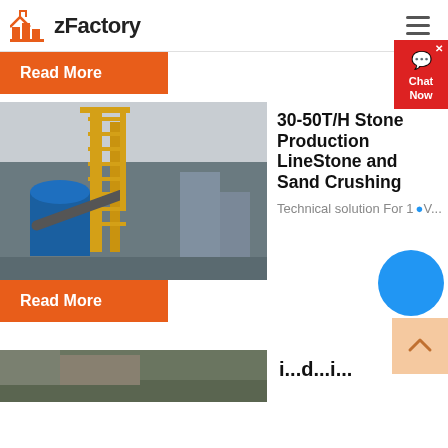zFactory
Read More
[Figure (photo): Industrial stone crushing and production facility with yellow scaffolding, blue machinery, and conveyor systems against a cloudy sky]
30-50T/H Stone Production LineStone and Sand Crushing
Technical solution For 1...V...
Read More
Chat Now